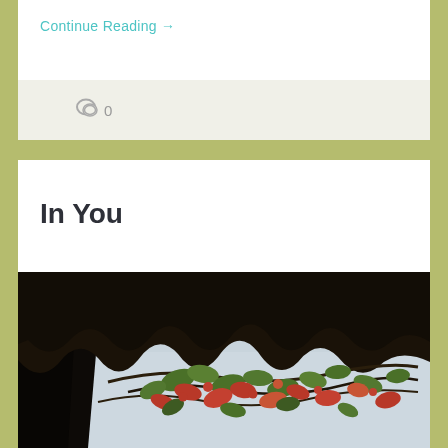Continue Reading →
💬 0
In You
[Figure (photo): Looking up through a thatched palm roof with tropical foliage featuring red and green leaves against a pale sky]